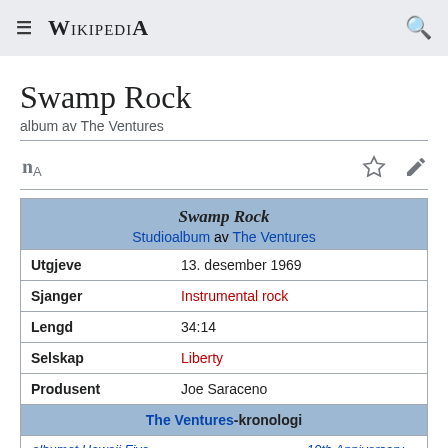≡ WIKIPEDIA 🔍
Swamp Rock
album av The Ventures
| Swamp Rock |
| Studioalbum av The Ventures |
| Utgjeve | 13. desember 1969 |
| Sjanger | Instrumental rock |
| Lengd | 34:14 |
| Selskap | Liberty |
| Produsent | Joe Saraceno |
| The Ventures-kronologi |
| albumet Hawaii Five-O | Swamp Rock | 10th Anniversary Album |